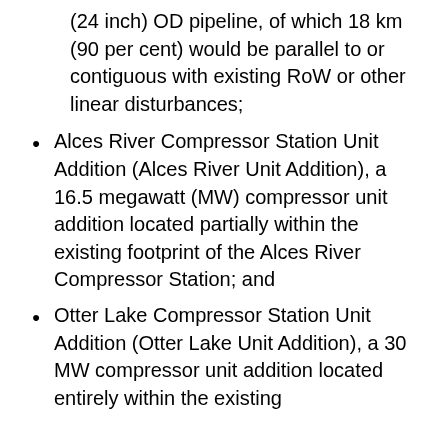(24 inch) OD pipeline, of which 18 km (90 per cent) would be parallel to or contiguous with existing RoW or other linear disturbances;
Alces River Compressor Station Unit Addition (Alces River Unit Addition), a 16.5 megawatt (MW) compressor unit addition located partially within the existing footprint of the Alces River Compressor Station; and
Otter Lake Compressor Station Unit Addition (Otter Lake Unit Addition), a 30 MW compressor unit addition located entirely within the existing